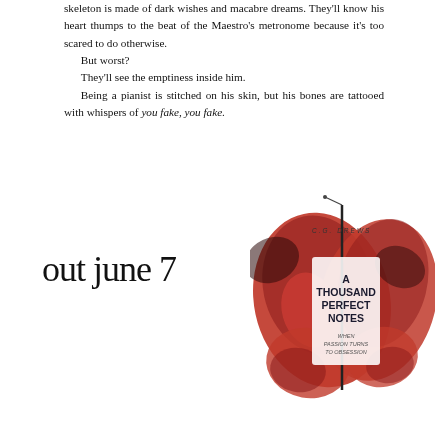skeleton is made of dark wishes and macabre dreams. They'll know his heart thumps to the beat of the Maestro's metronome because it's too scared to do otherwise.
    But worst?
    They'll see the emptiness inside him.
    Being a pianist is stitched on his skin, but his bones are tattooed with whispers of you fake, you fake.
out june 7
[Figure (illustration): Book cover for 'A Thousand Perfect Notes' by C.G. Drews, depicted on a butterfly-shaped image. The butterfly wings are red and black. The cover text reads: C.G. DREWS / A THOUSAND PERFECT NOTES / WHEN PASSION TURNS TO OBSESSION]